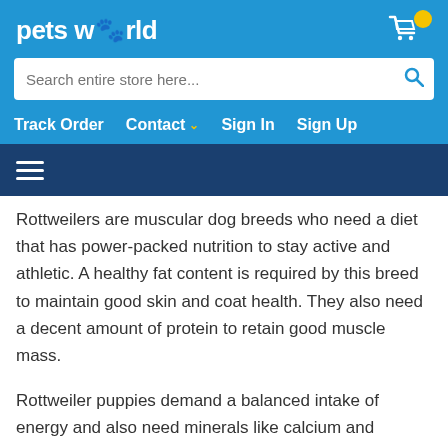petsworld
Search entire store here...
Track Order  Contact  Sign In  Sign Up
Rottweilers are muscular dog breeds who need a diet that has power-packed nutrition to stay active and athletic. A healthy fat content is required by this breed to maintain good skin and coat health. They also need a decent amount of protein to retain good muscle mass.
Rottweiler puppies demand a balanced intake of energy and also need minerals like calcium and phosphorus in their diet to build strong bones and joints. We at Petsworld stock the finest diets for Rottweiler puppies like Royal Canin Rottweiler Junior, Royal Canin Maxi...